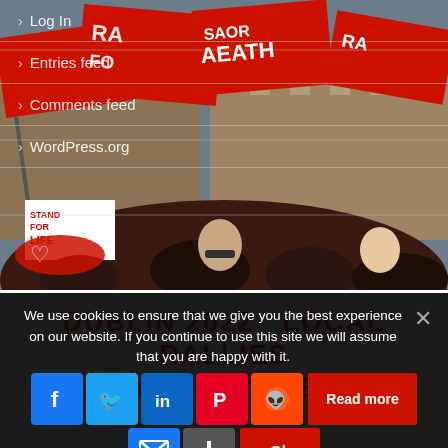[Figure (photo): Protest rally photo with people waving red flags, some reading 'STAND FOR LIFE' and other slogans, crowd of young people in foreground]
Log In
Entries feed
Comments feed
WordPress.org
DUBLIN 2022   LOCAL RALLIES GET INVOLVED
We use cookies to ensure that we give you the best experience on our website. If you continue to use this site we will assume that you are happy with it.
Ok   Read more